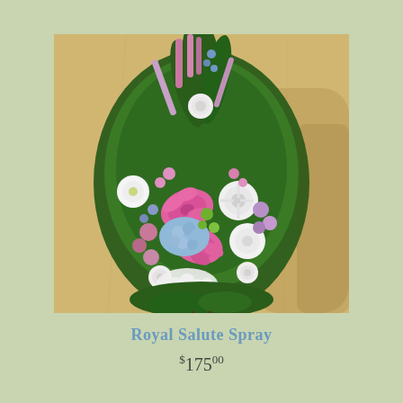[Figure (photo): A large floral funeral/sympathy standing spray arrangement featuring pink stargazer lilies, white chrysanthemums, blue hydrangeas, purple/pink snapdragons, white roses, and lush green foliage, displayed on a stand against a warm beige/gold wall background.]
Royal Salute Spray
$175.00